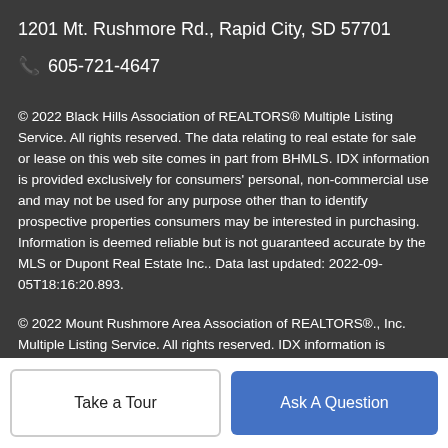1201 Mt. Rushmore Rd., Rapid City, SD 57701
📞 605-721-4647
© 2022 Black Hills Association of REALTORS® Multiple Listing Service. All rights reserved. The data relating to real estate for sale or lease on this web site comes in part from BHMLS. IDX information is provided exclusively for consumers' personal, non-commercial use and may not be used for any purpose other than to identify prospective properties consumers may be interested in purchasing. Information is deemed reliable but is not guaranteed accurate by the MLS or Dupont Real Estate Inc.. Data last updated: 2022-09-05T18:16:20.893.
© 2022 Mount Rushmore Area Association of REALTORS®., Inc. Multiple Listing Service. All rights reserved. IDX information is provided exclusively for consumers' personal, non-commercial use...
Take a Tour
Ask A Question